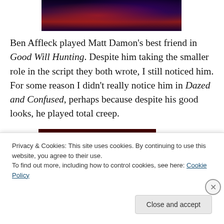[Figure (photo): Partial top view of a movie/game promotional image with dark purple, red and blue tones showing a figure with a weapon]
Ben Affleck played Matt Damon's best friend in Good Will Hunting. Despite him taking the smaller role in the script they both wrote, I still noticed him. For some reason I didn't really notice him in Dazed and Confused, perhaps because despite his good looks, he played total creep.
[Figure (photo): Partial view of a movie still with dark red tones showing two figures]
Privacy & Cookies: This site uses cookies. By continuing to use this website, you agree to their use.
To find out more, including how to control cookies, see here: Cookie Policy